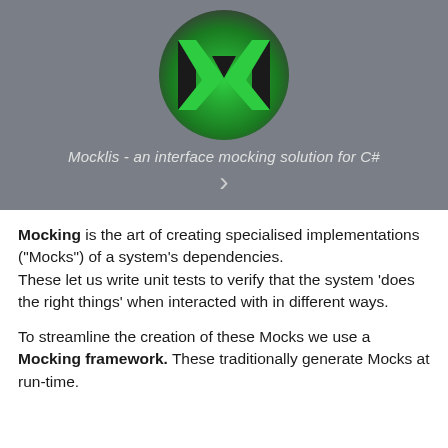[Figure (logo): Mocklis logo: green M letter on a dark circular background with glow effect, with chevron/arrow pointing right below. Caption reads 'Mocklis - an interface mocking solution for C#']
Mocking is the art of creating specialised implementations ("Mocks") of a system's dependencies. These let us write unit tests to verify that the system 'does the right things' when interacted with in different ways.
To streamline the creation of these Mocks we use a Mocking framework. These traditionally generate Mocks at run-time.